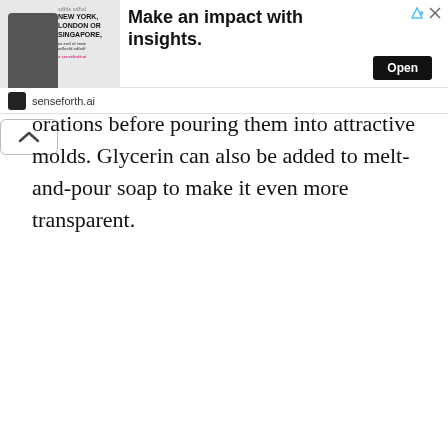[Figure (other): Advertisement banner: senseforth.ai ad with text 'Make an impact with insights.' and an Open button, with a photo of a businessman and text overlay 'NEW YORK, LONDON OR SINGAPORE,']
orations before pouring them into attractive molds. Glycerin can also be added to melt-and-pour soap to make it even more transparent.